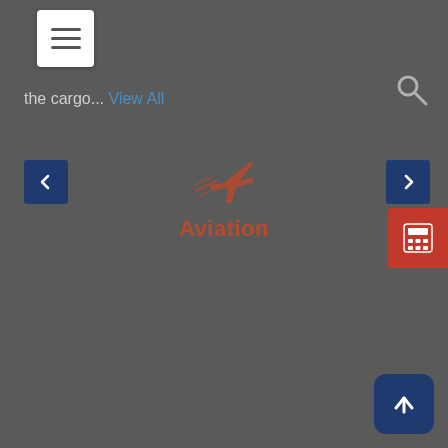[Figure (screenshot): Navigation menu hamburger button (three horizontal lines) in white rounded square, top-left corner]
[Figure (screenshot): Search magnifying glass icon, top-right corner]
the cargo... View All
[Figure (screenshot): Left navigation arrow button (dark navy blue square with left chevron)]
[Figure (illustration): Aviation airplane icon in burnt-orange/rust color with motion lines, centered on page]
Aviation
[Figure (screenshot): Right navigation arrow button (dark navy blue square with right chevron)]
[Figure (screenshot): Red calculator button on right edge of page]
[Figure (screenshot): Back to top button (dark navy rounded square with upward arrow), bottom-right corner]